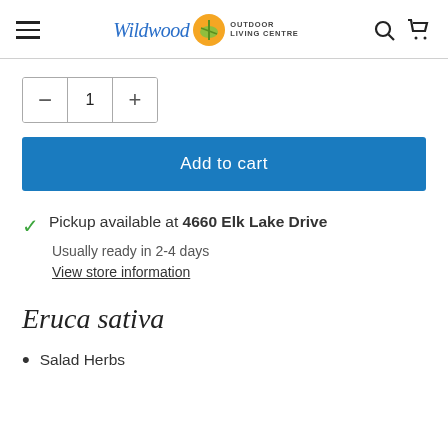Wildwood Outdoor Living Centre
1 (quantity selector with minus and plus buttons)
Add to cart
Pickup available at 4660 Elk Lake Drive
Usually ready in 2-4 days
View store information
Eruca sativa
Salad Herbs